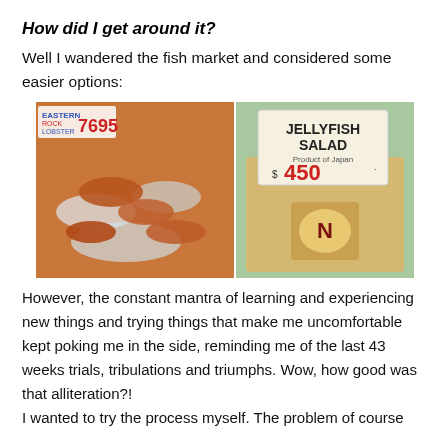How did I get around it?
Well I wandered the fish market and considered some easier options:
[Figure (photo): Two photos side by side: left shows lobsters/crustaceans on ice with a price tag reading 7695; right shows a container of Jellyfish Salad, Product of Japan, priced at $4.50, with a Netscape (N) logo visible on the container lid.]
However, the constant mantra of learning and experiencing new things and trying things that make me uncomfortable kept poking me in the side, reminding me of the last 43 weeks trials, tribulations and triumphs. Wow, how good was that alliteration?!
I wanted to try the process myself. The problem of course